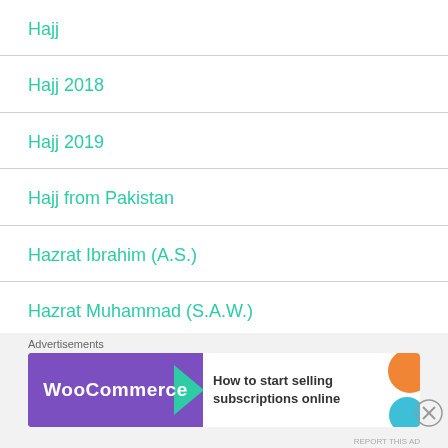Hajj
Hajj 2018
Hajj 2019
Hajj from Pakistan
Hazrat Ibrahim (A.S.)
Hazrat Muhammad (S.A.W.)
Highway Geometric Design
[Figure (other): WooCommerce advertisement banner: 'How to start selling subscriptions online']